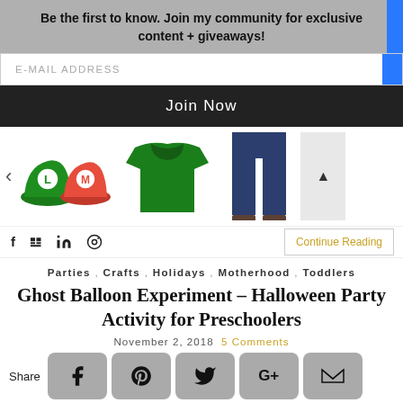Be the first to know. Join my community for exclusive content + giveaways!
E-MAIL ADDRESS
Join Now
[Figure (photo): Product images carousel showing Mario/Luigi hats, green sweater, jeans, with navigation arrows]
f  y  in  ⊕  Continue Reading
Parties , Crafts , Holidays , Motherhood , Toddlers
Ghost Balloon Experiment – Halloween Party Activity for Preschoolers
November 2, 2018   5 Comments
Share